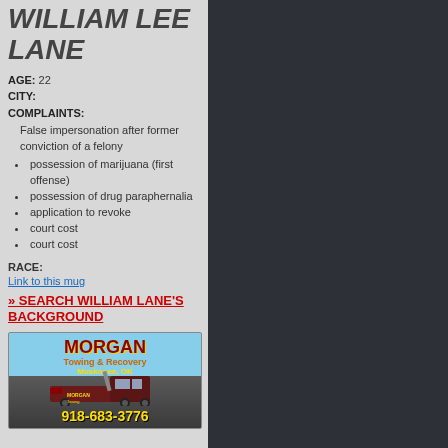WILLIAM LEE LANE
AGE: 22
CITY:
COMPLAINTS:
False impersonation after former conviction of a felony
possession of marijuana (first offense)
possession of drug paraphernalia
application to revoke
court cost
court cost
RACE:
Link to this mug
» SEARCH WILLIAM LANE'S BACKGROUND
[Figure (advertisement): Morgan Towing & Recovery advertisement showing a tow truck with phone number 918-683-3776, Muskogee OK]